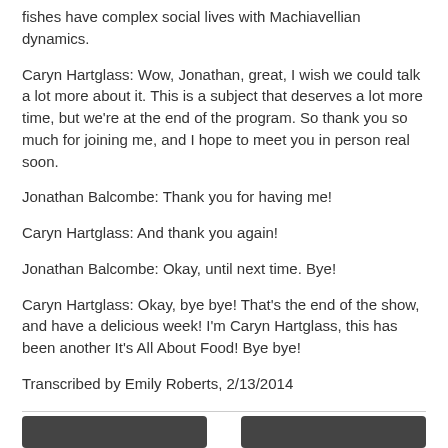fishes have complex social lives with Machiavellian dynamics.
Caryn Hartglass: Wow, Jonathan, great, I wish we could talk a lot more about it. This is a subject that deserves a lot more time, but we're at the end of the program. So thank you so much for joining me, and I hope to meet you in person real soon.
Jonathan Balcombe: Thank you for having me!
Caryn Hartglass: And thank you again!
Jonathan Balcombe: Okay, until next time. Bye!
Caryn Hartglass: Okay, bye bye! That's the end of the show, and have a delicious week! I'm Caryn Hartglass, this has been another It's All About Food! Bye bye!
Transcribed by Emily Roberts, 2/13/2014